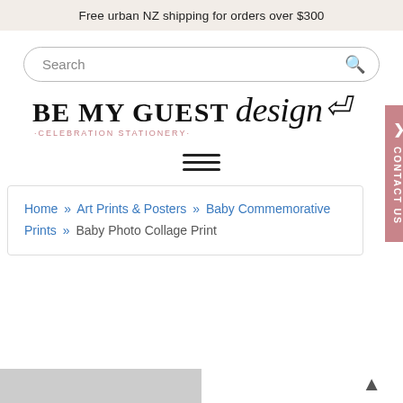Free urban NZ shipping for orders over $300
[Figure (screenshot): Search input box with magnifier icon]
[Figure (logo): Be My Guest Design - Celebration Stationery logo]
[Figure (other): Hamburger menu icon (three horizontal lines)]
Home » Art Prints & Posters » Baby Commemorative Prints » Baby Photo Collage Print